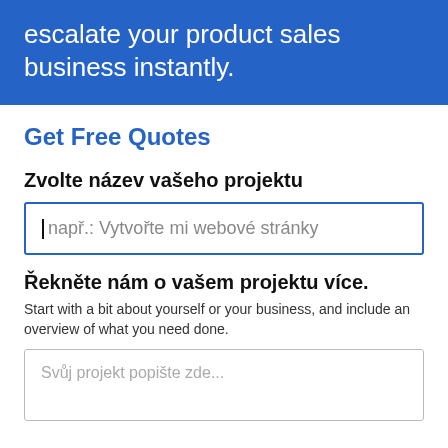escalate your product sales business instantly.
Get Free Quotes
Zvolte název vašeho projektu
např.: Vytvořte mi webové stránky
Řekněte nám o vašem projektu více.
Start with a bit about yourself or your business, and include an overview of what you need done.
Svůj projekt popište zde...